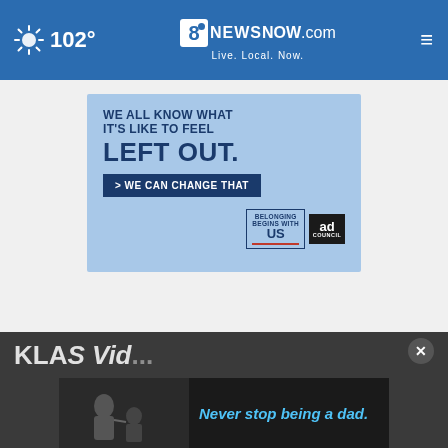102° 8NewsNow.com Live. Local. Now.
[Figure (illustration): Ad banner with light blue background. Text: 'WE ALL KNOW WHAT IT'S LIKE TO FEEL LEFT OUT.' with a dark blue button '> WE CAN CHANGE THAT'. Bottom logos: 'BELONGING BEGINS WITH US' and 'ad COUNCIL'.]
[Figure (screenshot): Bottom dark gray bar with 'KLAS Vid...' text and a video advertisement showing a black and white photo of a man and child with text 'Never stop being a dad.' A close (x) button appears in top right.]